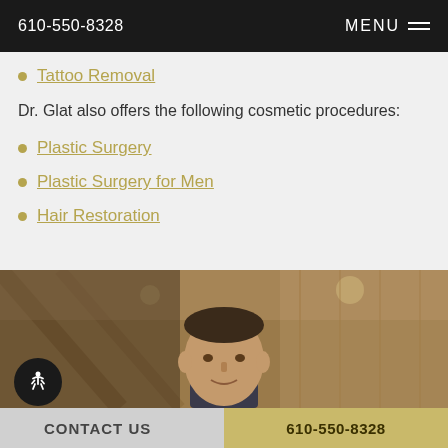610-550-8328  MENU
Tattoo Removal
Dr. Glat also offers the following cosmetic procedures:
Plastic Surgery
Plastic Surgery for Men
Hair Restoration
[Figure (photo): Photo of a doctor (Dr. Glat) in front of a wood-paneled background]
CONTACT US  610-550-8328